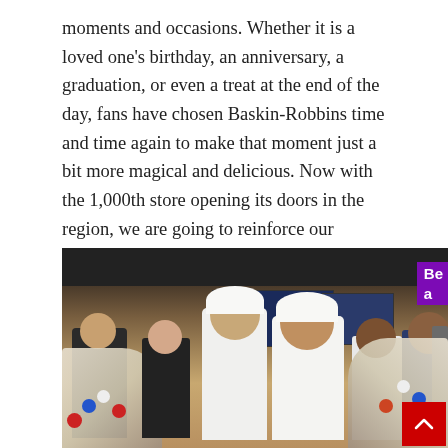moments and occasions. Whether it is a loved one’s birthday, an anniversary, a graduation, or even a treat at the end of the day, fans have chosen Baskin-Robbins time and time again to make that moment just a bit more magical and delicious. Now with the 1,000th store opening its doors in the region, we are going to reinforce our message of bringing delicious treats paired with exceptional customer service to make truly memorable moments.”
[Figure (photo): Group of business people celebrating the opening of the 1,000th Baskin-Robbins store in the region. People are holding flower bouquets, clapping and smiling. A man in traditional white Gulf attire (kandura) is prominent in the center. A purple Baskin-Robbins branded sign is partially visible in the top right corner.]